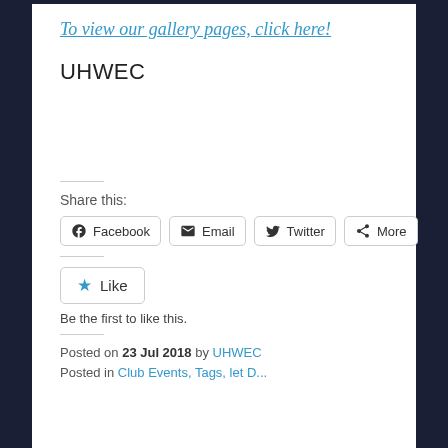To view our gallery pages, click here!
UHWEC
Share this:
Facebook  Email  Twitter  More
Like
Be the first to like this.
Posted on 23 Jul 2018 by UHWEC
Posted in Club Events, Tags, let D...